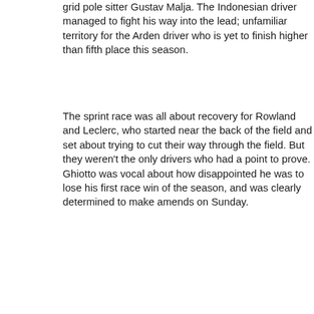grid pole sitter Gustav Malja. The Indonesian driver managed to fight his way into the lead; unfamiliar territory for the Arden driver who is yet to finish higher than fifth place this season.
The sprint race was all about recovery for Rowland and Leclerc, who started near the back of the field and set about trying to cut their way through the field. But they weren't the only drivers who had a point to prove. Ghiotto was vocal about how disappointed he was to lose his first race win of the season, and was clearly determined to make amends on Sunday.
[Figure (photo): Outdoor photo showing a race venue or paddock area with structures, poles, and trees against a blue sky]